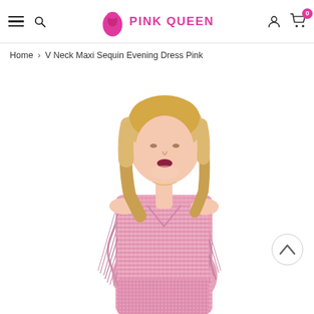PINK QUEEN
Home > V Neck Maxi Sequin Evening Dress Pink
[Figure (photo): Woman wearing a pink sequin maxi evening dress with fringe sleeves and V-neck, photographed from the waist up.]